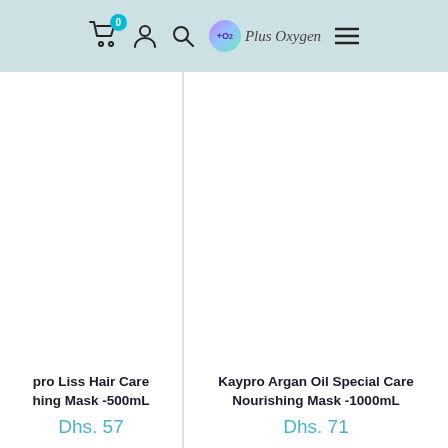Navigation header with cart (0), user, search, +O2 Plus Oxygen logo, and menu icons
pro Liss Hair Care hing Mask -500mL
Dhs. 57
Kaypro Argan Oil Special Care Nourishing Mask -1000mL
Dhs. 71